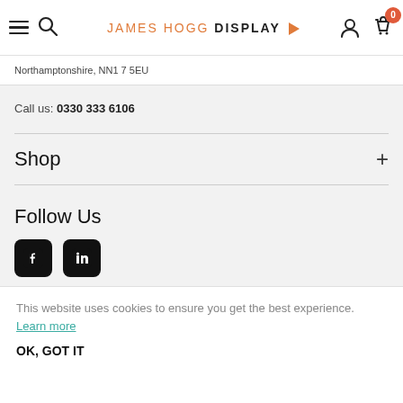JAMES HOGG DISPLAY
Northamptonshire, NN1 7 5EU
Call us: 0330 333 6106
Shop
Follow Us
[Figure (logo): Facebook and LinkedIn social media icons (black rounded square buttons)]
This website uses cookies to ensure you get the best experience. Learn more
OK, GOT IT